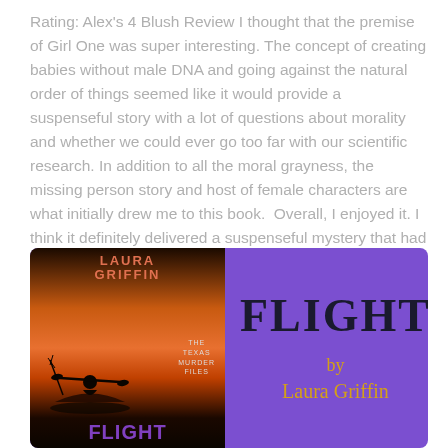Rating: Alex's 4 Blush Review I thought that the premise of Girl One was super interesting. The concept of creating babies without male DNA and going against the natural order of things seemed like it would provide a suspenseful story with a lot of questions about morality and whether we could ever go too far with our scientific research. In addition to all the moral grayness, the missing person story and host of female characters are what initially drew me to this book.  Overall, I enjoyed it. I think it definitely delivered a suspenseful mystery that had a few pretty...
[Figure (illustration): Book promotion card with purple background showing the cover of 'Flight' by Laura Griffin (The Texas Murder Files series) on the left — a silhouette of a person kayaking at sunset — and on the right the title 'FLIGHT' in large black serif text with 'by Laura Griffin' in gold/orange below it.]